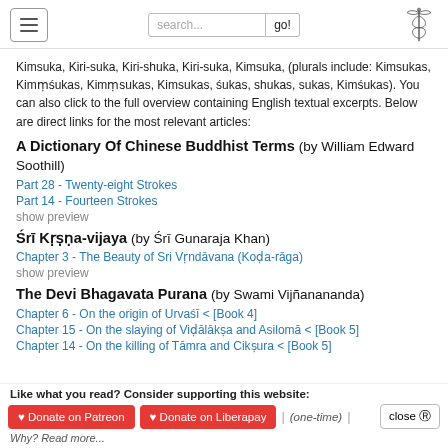Navigation header with hamburger menu, search bar, and caduceus logo
Kimsuka, Kiri-suka, Kiri-shuka, Kiri-suka, Kimsuka, (plurals include: Kimsukas, Kimśukas, Kimsukas, Kimsukas, śukas, shukas, sukas, Kimśukas). You can also click to the full overview containing English textual excerpts. Below are direct links for the most relevant articles:
A Dictionary Of Chinese Buddhist Terms (by William Edward Soothill)
Part 28 - Twenty-eight Strokes
Part 14 - Fourteen Strokes
show preview
Śrī Kṛṣṇa-vijaya (by Śrī Gunaraja Khan)
Chapter 3 - The Beauty of Sri Vṛndāvana (Koḍa-rāga)
show preview
The Devi Bhagavata Purana (by Swami Vijñanananda)
Chapter 6 - On the origin of Urvaśī < [Book 4]
Chapter 15 - On the slaying of Viḍālākṣa and Asilomā < [Book 5]
Chapter 14 - On the killing of Tāmra and Cikṣura < [Book 5]
Like what you read? Consider supporting this website: ♥ Donate on Patreon | ♥ Donate on Liberapay | (one-time) | close  Why? Read more...